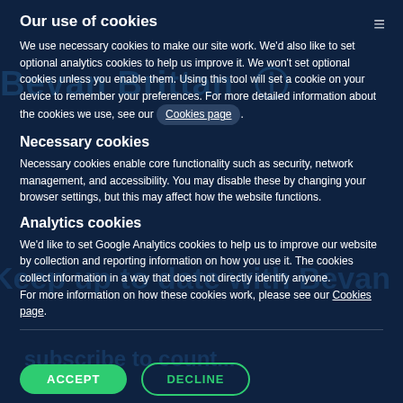Our use of cookies
We use necessary cookies to make our site work. We’d also like to set optional analytics cookies to help us improve it. We won’t set optional cookies unless you enable them. Using this tool will set a cookie on your device to remember your preferences. For more detailed information about the cookies we use, see our Cookies page.
Necessary cookies
Necessary cookies enable core functionality such as security, network management, and accessibility. You may disable these by changing your browser settings, but this may affect how the website functions.
Analytics cookies
We’d like to set Google Analytics cookies to help us to improve our website by collection and reporting information on how you use it. The cookies collect information in a way that does not directly identify anyone. For more information on how these cookies work, please see our Cookies page.
ACCEPT
DECLINE